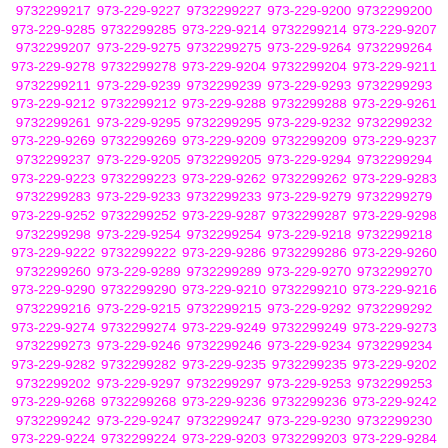9732299217 973-229-9227 9732299227 973-229-9200 9732299200 973-229-9285 9732299285 973-229-9214 9732299214 973-229-9207 9732299207 973-229-9275 9732299275 973-229-9264 9732299264 973-229-9278 9732299278 973-229-9204 9732299204 973-229-9211 9732299211 973-229-9239 9732299239 973-229-9293 9732299293 973-229-9212 9732299212 973-229-9288 9732299288 973-229-9261 9732299261 973-229-9295 9732299295 973-229-9232 9732299232 973-229-9269 9732299269 973-229-9209 9732299209 973-229-9237 9732299237 973-229-9205 9732299205 973-229-9294 9732299294 973-229-9223 9732299223 973-229-9262 9732299262 973-229-9283 9732299283 973-229-9233 9732299233 973-229-9279 9732299279 973-229-9252 9732299252 973-229-9287 9732299287 973-229-9298 9732299298 973-229-9254 9732299254 973-229-9218 9732299218 973-229-9222 9732299222 973-229-9286 9732299286 973-229-9260 9732299260 973-229-9289 9732299289 973-229-9270 9732299270 973-229-9290 9732299290 973-229-9210 9732299210 973-229-9216 9732299216 973-229-9215 9732299215 973-229-9292 9732299292 973-229-9274 9732299274 973-229-9249 9732299249 973-229-9273 9732299273 973-229-9246 9732299246 973-229-9234 9732299234 973-229-9282 9732299282 973-229-9235 9732299235 973-229-9202 9732299202 973-229-9297 9732299297 973-229-9253 9732299253 973-229-9268 9732299268 973-229-9236 9732299236 973-229-9242 9732299242 973-229-9247 9732299247 973-229-9230 9732299230 973-229-9224 9732299224 973-229-9203 9732299203 973-229-9284 9732299284 973-229-9201 9732299201 973-229-9244 9732299244 973-229-9256 9732299256 973-229-9281 9732299281 973-229-...